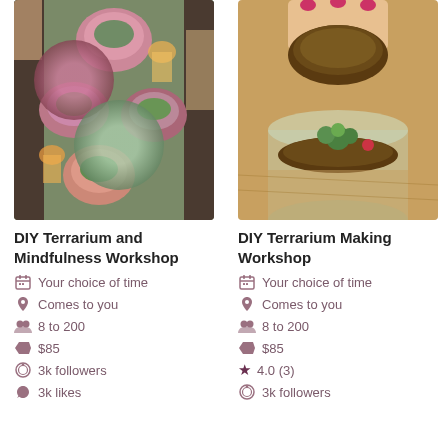[Figure (photo): Overhead view of colorful bowls with salad and food on a wooden table, people visible at edges]
DIY Terrarium and Mindfulness Workshop
Your choice of time
Comes to you
8 to 200
$85
3k followers
3k likes
[Figure (photo): Close-up of a hand holding soil/terrarium moss over a glass container filled with soil and a small succulent]
DIY Terrarium Making Workshop
Your choice of time
Comes to you
8 to 200
$85
4.0 (3)
3k followers